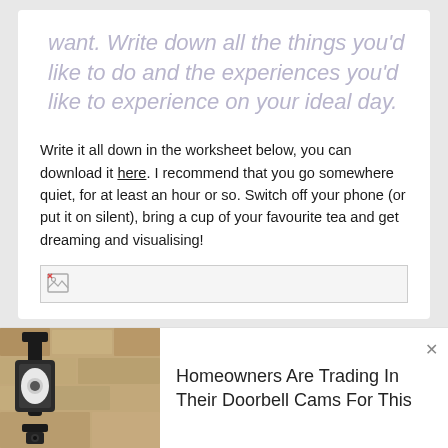want. Write down all the things you'd like to do and the experiences you'd like to experience on your ideal day.
Write it all down in the worksheet below, you can download it here. I recommend that you go somewhere quiet, for at least an hour or so. Switch off your phone (or put it on silent), bring a cup of your favourite tea and get dreaming and visualising!
[Figure (other): Image placeholder with broken image icon]
[Figure (photo): Photo of a security camera mounted on a stone wall]
Homeowners Are Trading In Their Doorbell Cams For This